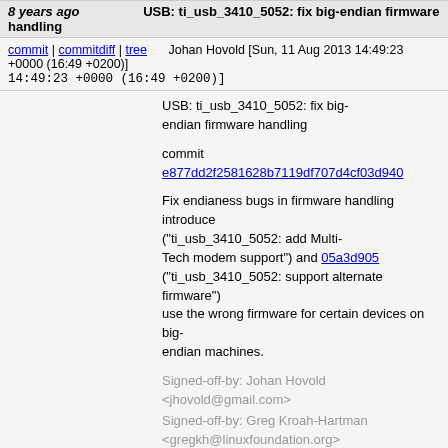8 years ago  USB: ti_usb_3410_5052: fix big-endian firmware handling
commit | commitdiff | tree   Johan Hovold [Sun, 11 Aug 2013 14:49:23 +0000 (16:49 +0200)]
USB: ti_usb_3410_5052: fix big-endian firmware handling

commit e877dd2f2581628b7119df707d4cf03d940...

Fix endianess bugs in firmware handling introduced ("ti_usb_3410_5052: add Multi-Tech modem support") and 05a3d905 ("ti_usb_3410_5052: support alternate firmware") use the wrong firmware for certain devices on big-endian machines.

Signed-off-by: Johan Hovold <jhovold@gmail.com>
Signed-off-by: Greg Kroah-Hartman <gregkh@linuxfoundation.org>
[bwh: Backported to 3.2: adjust context]
Signed-off-by: Ben Hutchings <ben@decadent.org.uk>
8 years ago  USB: adutux: fix big-endian device-type reporting
commit | commitdiff | tree   Johan Hovold [Sun, 11 Aug 2013 14:49:22 +0000 (16:49 +0200)]